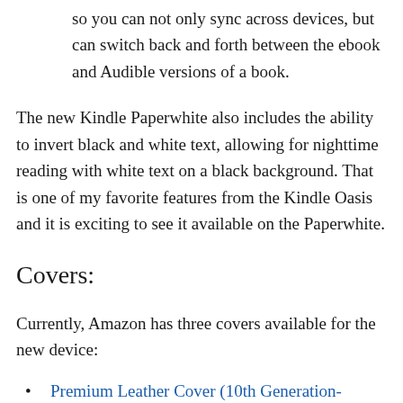so you can not only sync across devices, but can switch back and forth between the ebook and Audible versions of a book.
The new Kindle Paperwhite also includes the ability to invert black and white text, allowing for nighttime reading with white text on a black background. That is one of my favorite features from the Kindle Oasis and it is exciting to see it available on the Paperwhite.
Covers:
Currently, Amazon has three covers available for the new device:
Premium Leather Cover (10th Generation-